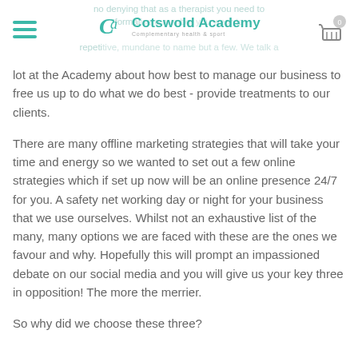Cotswold Academy — Complementary Health & Sport
lot at the Academy about how best to manage our business to free us up to do what we do best - provide treatments to our clients.
There are many offline marketing strategies that will take your time and energy so we wanted to set out a few online strategies which if set up now will be an online presence 24/7 for you. A safety net working day or night for your business that we use ourselves. Whilst not an exhaustive list of the many, many options we are faced with these are the ones we favour and why. Hopefully this will prompt an impassioned debate on our social media and you will give us your key three in opposition! The more the merrier.
So why did we choose these three?